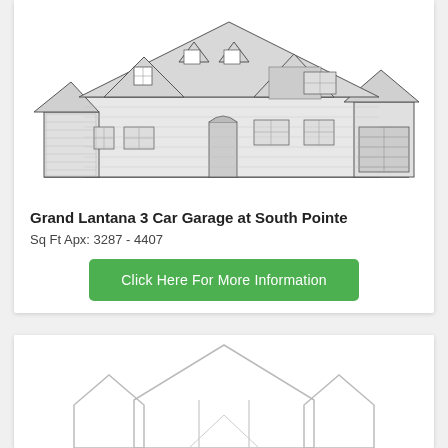[Figure (illustration): Architectural front elevation drawing of a large two-story house with brick and stone exterior, multiple gabled dormers, arched front entry, three-car garage on the right side, and detailed window arrangements.]
Grand Lantana 3 Car Garage at South Pointe
Sq Ft Apx: 3287 - 4407
[Figure (illustration): Partial architectural front elevation drawing of a house, showing roofline and upper portion of the facade, light gray line art style.]